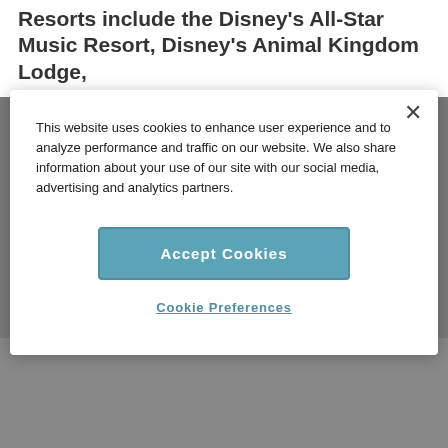Resorts include the Disney's All-Star Music Resort, Disney's Animal Kingdom Lodge,
This website uses cookies to enhance user experience and to analyze performance and traffic on our website. We also share information about your use of our site with our social media, advertising and analytics partners.
Accept Cookies
Cookie Preferences